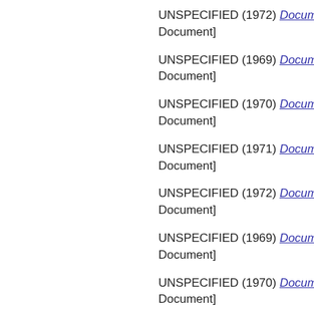UNSPECIFIED (1972) Documentation p... Document]
UNSPECIFIED (1969) Documentation p... Document]
UNSPECIFIED (1970) Documentation p... Document]
UNSPECIFIED (1971) Documentation p... Document]
UNSPECIFIED (1972) Documentation p... Document]
UNSPECIFIED (1969) Documentation p... Document]
UNSPECIFIED (1970) Documentation p... Document]
UNSPECIFIED (1971) Documentation p... Document]